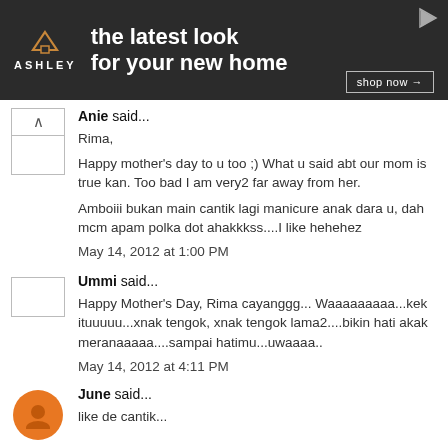[Figure (screenshot): Ashley Furniture advertisement banner: dark background with Ashley logo (house icon and ASHLEY text), tagline 'the latest look for your new home', shop now button, and play icon in top right corner.]
Anie said...
Rima,
Happy mother's day to u too ;) What u said abt our mom is true kan. Too bad I am very2 far away from her.
Amboiii bukan main cantik lagi manicure anak dara u, dah mcm apam polka dot ahakkkss....I like hehehez
May 14, 2012 at 1:00 PM
Ummi said...
Happy Mother's Day, Rima cayanggg... Waaaaaaaaa...kek ituuuuu...xnak tengok, xnak tengok lama2....bikin hati akak meranaaaaa....sampai hatimu...uwaaaa..
May 14, 2012 at 4:11 PM
June said...
like de cantik...